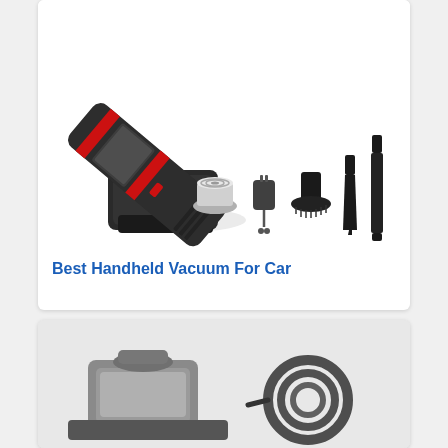[Figure (photo): Photo of a red and black handheld vacuum cleaner for car, shown diagonally, with accessories including HEPA filter, charger, brush attachment, crevice tool, and extension nozzle displayed below it.]
Best Handheld Vacuum For Car
[Figure (photo): Partially visible photo of a grey car vacuum cleaner with black hose/cord accessories, cropped at the bottom of the page.]